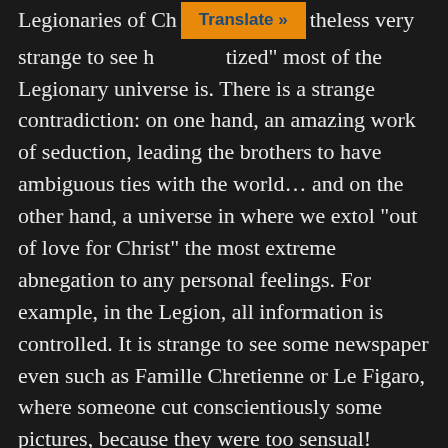Legionaries of Christ... nonetheless very strange to see how "Christianized" most of the Legionary universe is. There is a strange contradiction: on one hand, an amazing work of seduction, leading the brothers to have ambiguous ties with the world... and on the other hand, a universe in where we extol "out of love for Christ" the most extreme abnegation to any personal feelings. For example, in the Legion, all information is controlled. It is strange to see some newspaper even such as Famille Chretienne or Le Figaro, where someone cut conscientiously some pictures, because they were too sensual!
A real halo of guilt grows very quickly around sexuality, thanks to the many conscience...